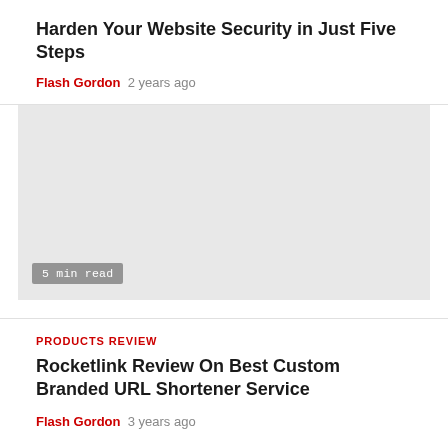Harden Your Website Security in Just Five Steps
Flash Gordon  2 years ago
[Figure (photo): Large gray placeholder image with a '5 min read' badge in the bottom-left corner]
PRODUCTS REVIEW
Rocketlink Review On Best Custom Branded URL Shortener Service
Flash Gordon  3 years ago